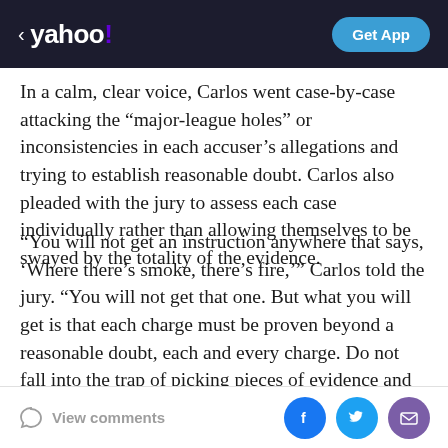yahoo! Get App
In a calm, clear voice, Carlos went case-by-case attacking the “major-league holes” or inconsistencies in each accuser’s allegations and trying to establish reasonable doubt. Carlos also pleaded with the jury to assess each case individually rather than allowing themselves to be swayed by the totality of the evidence.
“You will not get an instruction anywhere that says, ‘Where there’s smoke, there’s fire,’” Carlos told the jury. “You will not get that one. But what you will get is that each charge must be proven beyond a reasonable doubt, each and every charge. Do not fall into the trap of picking pieces of evidence and making another case
View comments